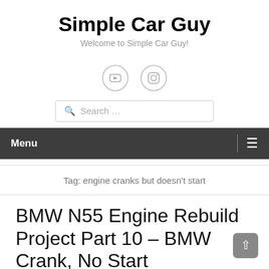Simple Car Guy
Welcome to Simple Car Guy!
[Figure (illustration): Social media icons: YouTube and Instagram, circular outlined]
Search ...
Menu
Tag: engine cranks but doesn't start
BMW N55 Engine Rebuild Project Part 10 – BMW Crank, No Start